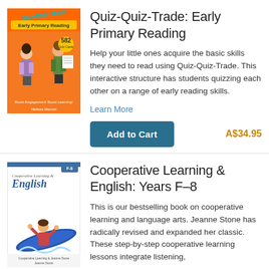[Figure (illustration): Book cover for Quiz-Quiz-Trade: Early Primary Reading with cartoon children and orange background]
Quiz-Quiz-Trade: Early Primary Reading
Help your little ones acquire the basic skills they need to read using Quiz-Quiz-Trade. This interactive structure has students quizzing each other on a range of early reading skills.
Learn More
Add to Cart   A$34.95
[Figure (illustration): Book cover for Cooperative Learning & English: Years F-8 with cartoon illustration of person on a surfboard]
Cooperative Learning & English: Years F–8
This is our bestselling book on cooperative learning and language arts. Jeanne Stone has radically revised and expanded her classic. These step-by-step cooperative learning lessons integrate listening,